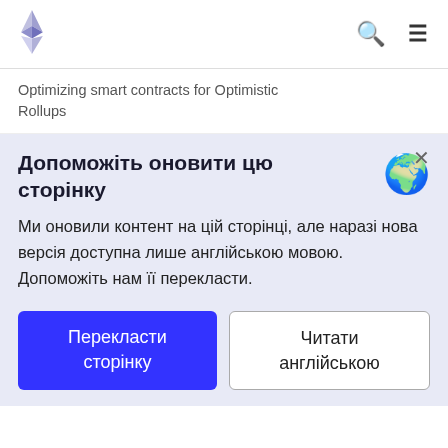Ethereum logo, search icon, hamburger menu
Optimizing smart contracts for Optimistic Rollups
Допоможіть оновити цю сторінку
Ми оновили контент на цій сторінці, але наразі нова версія доступна лише англійською мовою. Допоможіть нам її перекласти.
Перекласти сторінку
Читати англійською